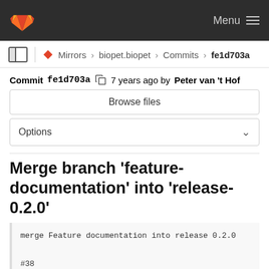GitLab — Menu
Mirrors > biopet.biopet > Commits > fe1d703a
Commit fe1d703a  7 years ago by Peter van 't Hof
Browse files
Options
Merge branch 'feature-documentation' into 'release-0.2.0'
merge Feature documentation into release 0.2.0

#38

See merge request !63